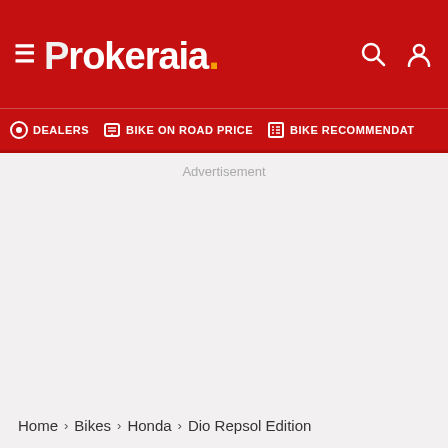Prokeraia.
DEALERS  BIKE ON ROAD PRICE  BIKE RECOMMENDATION
Advertisement
Home > Bikes > Honda > Dio Repsol Edition